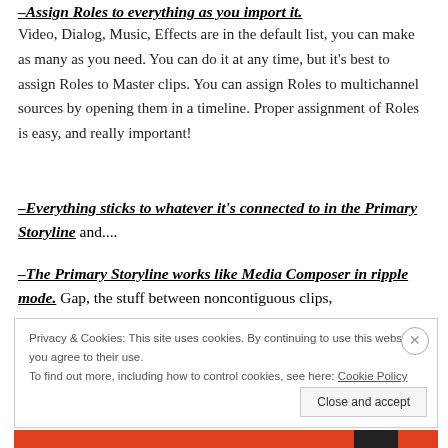–Assign Roles to everything as you import it.
Video, Dialog, Music, Effects are in the default list, you can make as many as you need. You can do it at any time, but it's best to assign Roles to Master clips. You can assign Roles to multichannel sources by opening them in a timeline. Proper assignment of Roles is easy, and really important!
–Everything sticks to whatever it's connected to in the Primary Storyline and....
–The Primary Storyline works like Media Composer in ripple mode. Gap, the stuff between noncontiguous clips,
Privacy & Cookies: This site uses cookies. By continuing to use this website, you agree to their use.
To find out more, including how to control cookies, see here: Cookie Policy
Close and accept